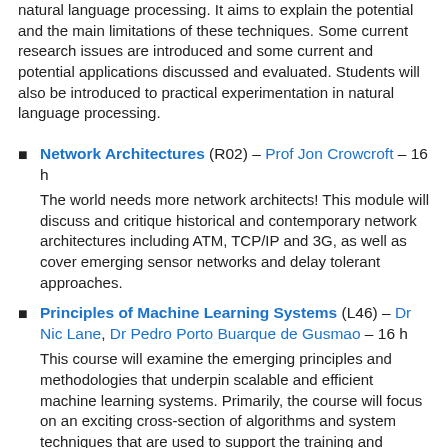natural language processing. It aims to explain the potential and the main limitations of these techniques. Some current research issues are introduced and some current and potential applications discussed and evaluated. Students will also be introduced to practical experimentation in natural language processing.
Network Architectures (R02) – Prof Jon Crowcroft – 16 h
The world needs more network architects! This module will discuss and critique historical and contemporary network architectures including ATM, TCP/IP and 3G, as well as cover emerging sensor networks and delay tolerant approaches.
Principles of Machine Learning Systems (L46) – Dr Nic Lane, Dr Pedro Porto Buarque de Gusmao – 16 h
This course will examine the emerging principles and methodologies that underpin scalable and efficient machine learning systems. Primarily, the course will focus on an exciting cross-section of algorithms and system techniques that are used to support the training and inference of machine learning models under a spectrum of computing systems that range from constrained embedded systems up to large-scale distributed systems. It will also touch up the now